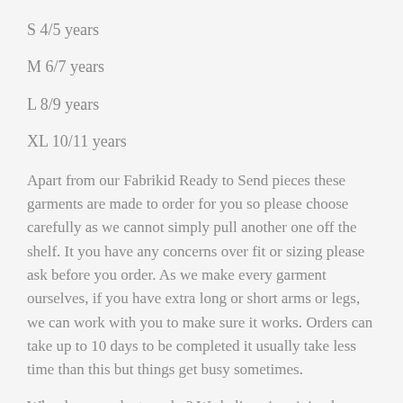S 4/5 years
M 6/7 years
L 8/9 years
XL 10/11 years
Apart from our Fabrikid Ready to Send pieces these garments are made to order for you so please choose carefully as we cannot simply pull another one off the shelf. It you have any concerns over fit or sizing please ask before you order. As we make every garment ourselves, if you have extra long or short arms or legs, we can work with you to make sure it works. Orders can take up to 10 days to be completed it usually take less time than this but things get busy sometimes.
Why do we make to order? We believe in minimal resource waste. These fabrics are the very last of their kind to be milled in New Zealand. Like you they are